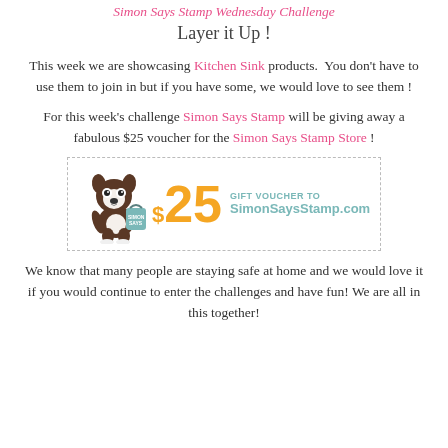Layer it Up !
This week we are showcasing Kitchen Sink products. You don't have to use them to join in but if you have some, we would love to see them !
For this week's challenge Simon Says Stamp will be giving away a fabulous $25 voucher for the Simon Says Stamp Store !
[Figure (illustration): A $25 gift voucher for SimonSaysStamp.com featuring a cartoon Boston Terrier dog carrying a shopping bag with the Simon Says Stamp logo, alongside a large orange $25 amount and teal text reading GIFT VOUCHER TO SimonSaysStamp.com, all inside a dashed border box.]
We know that many people are staying safe at home and we would love it if you would continue to enter the challenges and have fun! We are all in this together!